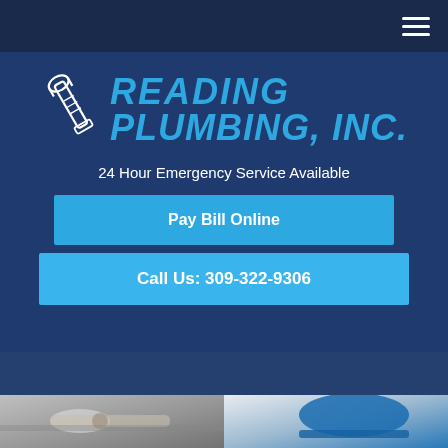Navigation bar with hamburger menu icon
[Figure (logo): Reading Plumbing Inc. logo with wrench icon and blue stylized text]
24 Hour Emergency Service Available
Pay Bill Online
Call Us: 309-322-9306
Plumber Service Peoria IL
[Figure (photo): Plumber working on pipes under sink, split image showing pipes on left and blue hard hat on right]